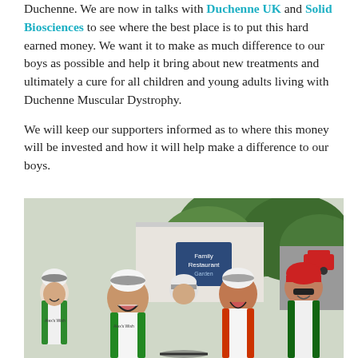Duchenne. We are now in talks with Duchenne UK and Solid Biosciences to see where the best place is to put this hard earned money. We want it to make as much difference to our boys as possible and help it bring about new treatments and ultimately a cure for all children and young adults living with Duchenne Muscular Dystrophy.

We will keep our supporters informed as to where this money will be invested and how it will help make a difference to our boys.
[Figure (photo): Group photo of cyclists wearing white Alex's Wish cycling jerseys with green and orange trim, wearing helmets, smiling in front of a Family Restaurant sign with trees in background.]